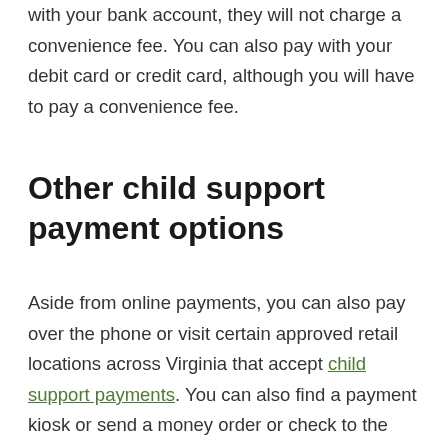with your bank account, they will not charge a convenience fee. You can also pay with your debit card or credit card, although you will have to pay a convenience fee.
Other child support payment options
Aside from online payments, you can also pay over the phone or visit certain approved retail locations across Virginia that accept child support payments. You can also find a payment kiosk or send a money order or check to the state through the mail. Make sure you enter all